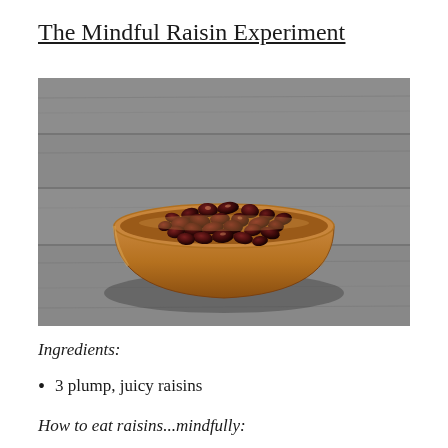The Mindful Raisin Experiment
[Figure (photo): A wooden bowl filled with dark, plump raisins, photographed on a rustic wooden surface. The bowl is round with a warm tan/amber color, and the raisins are dark reddish-brown and glossy.]
Ingredients:
3 plump, juicy raisins
How to eat raisins...mindfully: